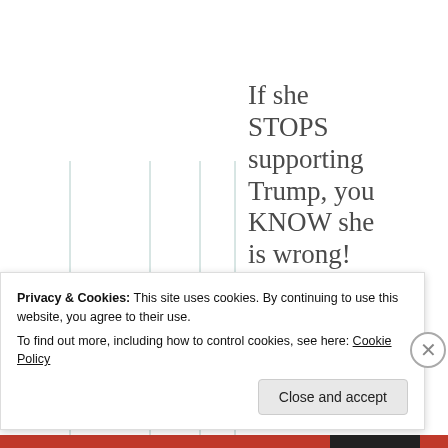If she STOPS supporting Trump, you KNOW she is wrong! It's that simple!
[Figure (illustration): A blue star symbol]
Privacy & Cookies: This site uses cookies. By continuing to use this website, you agree to their use. To find out more, including how to control cookies, see here: Cookie Policy
Close and accept